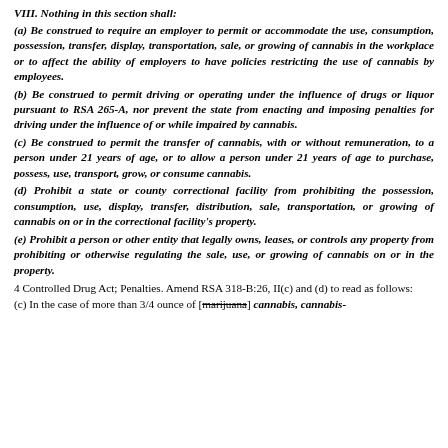VIII.  Nothing in this section shall:
(a)   Be construed to require an employer to permit or accommodate the use, consumption, possession, transfer, display, transportation, sale, or growing of cannabis in the workplace or to affect the ability of employers to have policies restricting the use of cannabis by employees.
(b)  Be construed to permit driving or operating under the influence of drugs or liquor pursuant to RSA 265-A, nor prevent the state from enacting and imposing penalties for driving under the influence of or while impaired by cannabis.
(c)    Be construed to permit the transfer of cannabis, with or without remuneration, to a person under 21 years of age, or to allow a person under 21 years of age to purchase, possess, use, transport, grow, or consume cannabis.
(d)    Prohibit a state or county correctional facility from prohibiting the possession, consumption, use, display, transfer, distribution, sale, transportation, or growing of cannabis on or in the correctional facility's property.
(e)  Prohibit a person or other entity that legally owns, leases, or controls any property from prohibiting or otherwise regulating the sale, use, or growing of cannabis on or in the property.
4  Controlled Drug Act; Penalties.  Amend RSA 318-B:26, II(c) and (d) to read as follows:
(c)  In the case of more than 3/4 ounce of [marijuana] cannabis, cannabis-